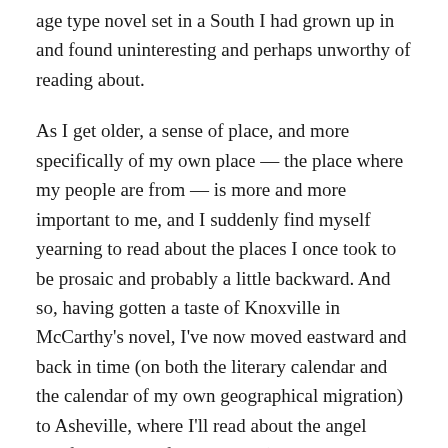age type novel set in a South I had grown up in and found uninteresting and perhaps unworthy of reading about.
As I get older, a sense of place, and more specifically of my own place — the place where my people are from — is more and more important to me, and I suddenly find myself yearning to read about the places I once took to be prosaic and probably a little backward. And so, having gotten a taste of Knoxville in McCarthy's novel, I've now moved eastward and back in time (on both the literary calendar and the calendar of my own geographical migration) to Asheville, where I'll read about the angel Wolfe borrowed from Milton (a particular interest of mine while studying yet farther east in Chapel Hill) at the same time I'm reading about the demons we're all being treated to this Halloween month courtesy of Bram Stoker.